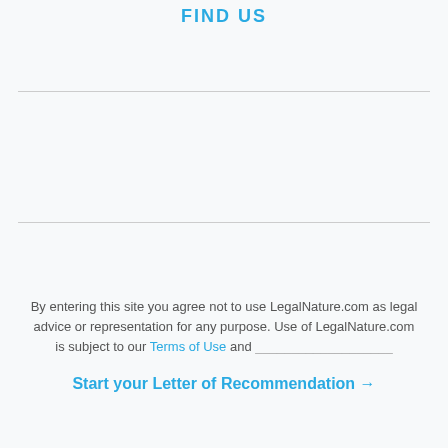FIND US
By entering this site you agree not to use LegalNature.com as legal advice or representation for any purpose. Use of LegalNature.com is subject to our Terms of Use and
Start your Letter of Recommendation →